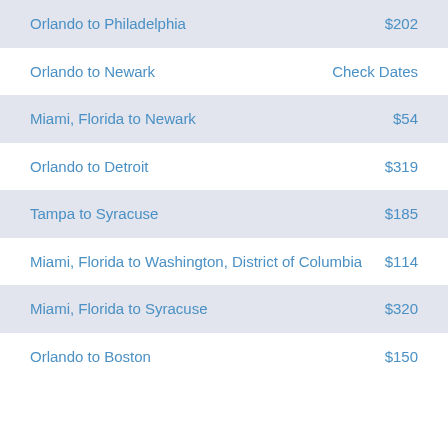| Route | Price |
| --- | --- |
| Orlando to Philadelphia | $202 |
| Orlando to Newark | Check Dates |
| Miami, Florida to Newark | $54 |
| Orlando to Detroit | $319 |
| Tampa to Syracuse | $185 |
| Miami, Florida to Washington, District of Columbia | $114 |
| Miami, Florida to Syracuse | $320 |
| Orlando to Boston | $150 |